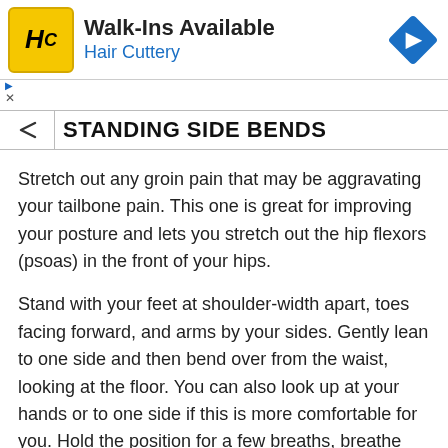[Figure (logo): Hair Cuttery advertisement banner with HC logo, 'Walk-Ins Available' heading, 'Hair Cuttery' subtitle in blue, and a blue diamond navigation arrow icon on the right]
STANDING SIDE BENDS
Stretch out any groin pain that may be aggravating your tailbone pain. This one is great for improving your posture and lets you stretch out the hip flexors (psoas) in the front of your hips.
Stand with your feet at shoulder-width apart, toes facing forward, and arms by your sides. Gently lean to one side and then bend over from the waist, looking at the floor. You can also look up at your hands or to one side if this is more comfortable for you. Hold the position for a few breaths, breathe deeply, and inhale deeply as